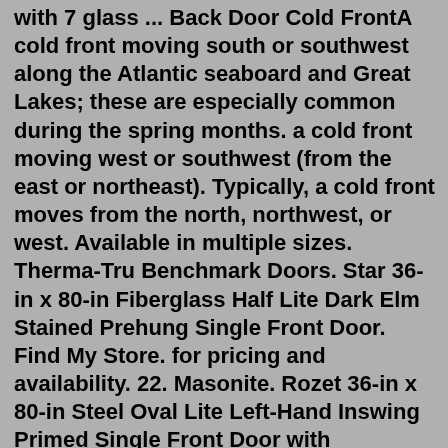with 7 glass ... Back Door Cold FrontA cold front moving south or southwest along the Atlantic seaboard and Great Lakes; these are especially common during the spring months. a cold front moving west or southwest (from the east or northeast). Typically, a cold front moves from the north, northwest, or west. Available in multiple sizes. Therma-Tru Benchmark Doors. Star 36-in x 80-in Fiberglass Half Lite Dark Elm Stained Prehung Single Front Door. Find My Store. for pricing and availability. 22. Masonite. Rozet 36-in x 80-in Steel Oval Lite Left-Hand Inswing Primed Single Front Door with Brickmould Insulating Core. Model # 3846530. elderly senior caucasian woman cautiously opening the front door feeling unsure and wearing an n95 protective face mask to prevent the spread of covid sars ncov 19 coronavirus swine flu h7n9 influenza illness during cold and flu season - cold front door stock pictures, royalty-free photos & images Jun 01, 2022 · From WeatherTap A back-door cold front will find that the door...